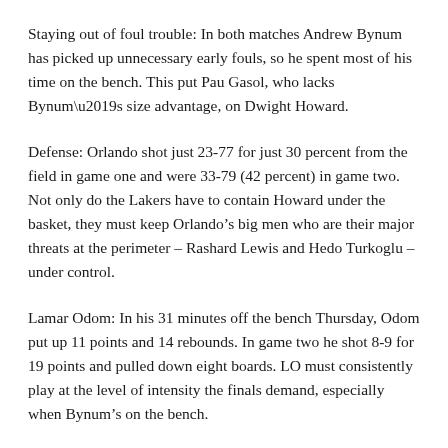Staying out of foul trouble: In both matches Andrew Bynum has picked up unnecessary early fouls, so he spent most of his time on the bench. This put Pau Gasol, who lacks Bynum’s size advantage, on Dwight Howard.
Defense: Orlando shot just 23-77 for just 30 percent from the field in game one and were 33-79 (42 percent) in game two. Not only do the Lakers have to contain Howard under the basket, they must keep Orlando’s big men who are their major threats at the perimeter – Rashard Lewis and Hedo Turkoglu – under control.
Lamar Odom: In his 31 minutes off the bench Thursday, Odom put up 11 points and 14 rebounds. In game two he shot 8-9 for 19 points and pulled down eight boards. LO must consistently play at the level of intensity the finals demand, especially when Bynum’s on the bench.
Game four is Thursday in Orlando, and if necessary, game five